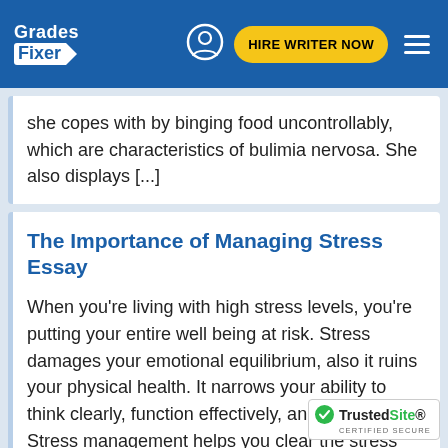Grades Fixer | HIRE WRITER NOW
she copes with by binging food uncontrollably, which are characteristics of bulimia nervosa. She also displays [...]
The Importance of Managing Stress Essay
When you're living with high stress levels, you're putting your entire well being at risk. Stress damages your emotional equilibrium, also it ruins your physical health. It narrows your ability to think clearly, function effectively, and enjoy life. Stress management helps you clear the stress you [...]